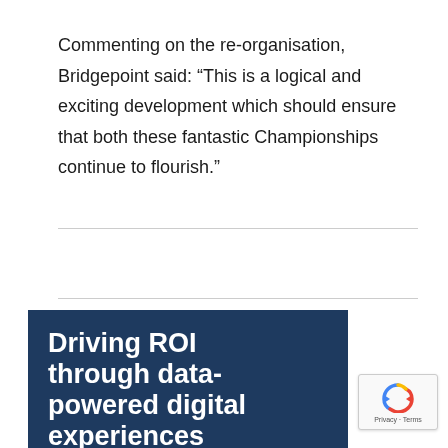Commenting on the re-organisation, Bridgepoint said: “This is a logical and exciting development which should ensure that both these fantastic Championships continue to flourish.”
[Figure (other): Dark navy blue banner/advertisement with bold white text: 'Driving ROI through data-powered digital experiences']